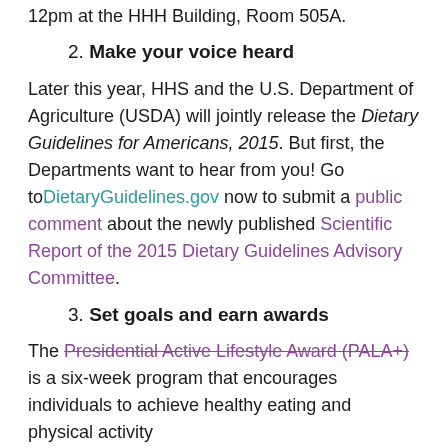12pm at the HHH Building, Room 505A.
2. Make your voice heard
Later this year, HHS and the U.S. Department of Agriculture (USDA) will jointly release the Dietary Guidelines for Americans, 2015. But first, the Departments want to hear from you! Go to DietaryGuidelines.gov now to submit a public comment about the newly published Scientific Report of the 2015 Dietary Guidelines Advisory Committee.
3. Set goals and earn awards
The Presidential Active Lifestyle Award (PALA+) is a six-week program that encourages individuals to achieve healthy eating and physical activity